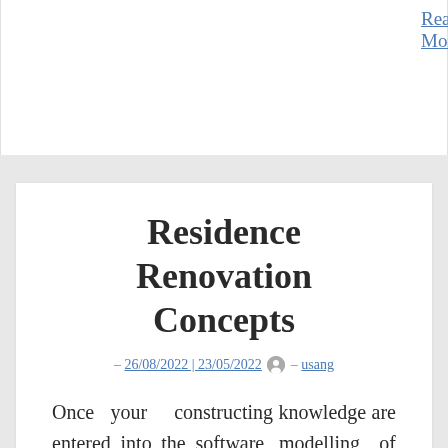Read More
Residence Renovation Concepts
– 26/08/2022 | 23/05/2022 [avatar] – usang
Once your constructing knowledge are entered into the software, modelling of options can be a reasonable method to